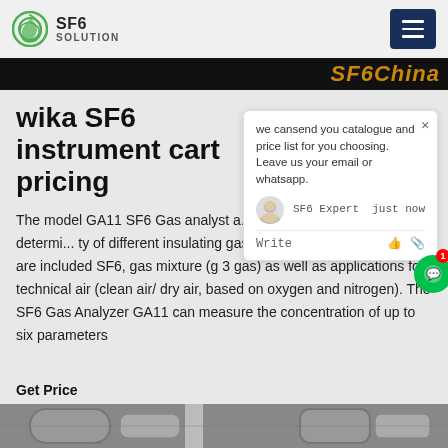SF6 SOLUTION
wika SF6 instrument cart pricing
The model GA11 SF6 Gas analyst and reliable instruments for determining quality of different insulating gases. Among insulating gases are included SF6, gas mixture (g 3 gas) as well as applications for technical air (clean air/ dry air, based on oxygen and nitrogen). The SF6 Gas Analyzer GA11 can measure the concentration of up to six parameters
we cansend you catalogue and price list for you choosing.
Leave us your email or whatsapp.
SF6 Expert just now
Write
Get Price
[Figure (photo): Industrial equipment photo at bottom of page showing pipes and flanges]